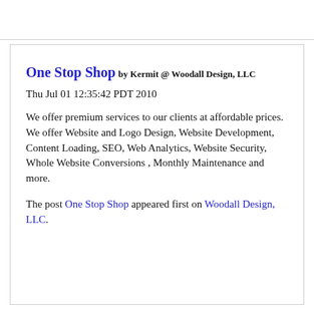One Stop Shop
by Kermit @ Woodall Design, LLC
Thu Jul 01 12:35:42 PDT 2010
We offer premium services to our clients at affordable prices. We offer Website and Logo Design, Website Development, Content Loading, SEO, Web Analytics, Website Security, Whole Website Conversions , Monthly Maintenance and more.
The post One Stop Shop appeared first on Woodall Design, LLC.